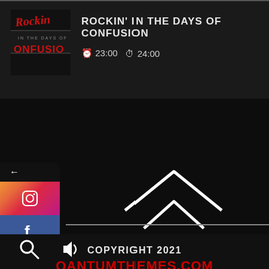[Figure (logo): Rockin in the Days of Confusion logo - red stylized text on dark background]
ROCKIN' IN THE DAYS OF CONFUSION
🕐 23:00 🕐 24:00
[Figure (infographic): Social media sidebar with back arrow, Instagram, Facebook, and Twitter icons]
[Figure (illustration): Two chevron up arrows in white on dark background]
COPYRIGHT 2021
QANTUMTHEMES.COM
HOME / SHOWS / VIDEOS / NEWS / REQUEST SONG / CONTACT
[Figure (illustration): Search icon and volume/speaker icon at bottom left]